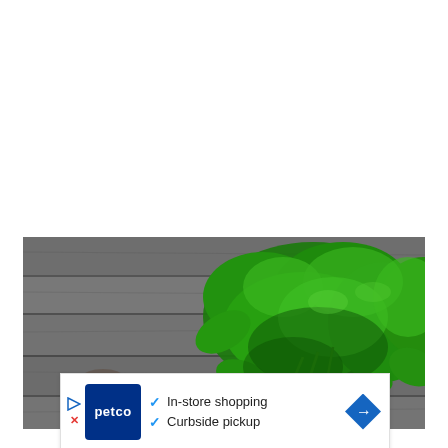[Figure (photo): A bunch of fresh green herbs (basil or mint leaves) lying on a rustic gray wooden surface, viewed from above. The herbs are vibrant green with multiple leafy stems spread out.]
[Figure (infographic): Petco advertisement banner showing Petco logo (white text on dark blue square), two blue checkmarks listing 'In-store shopping' and 'Curbside pickup', flanked by a blue play triangle icon and red X on the left, and a blue diamond-shaped arrow icon on the right.]